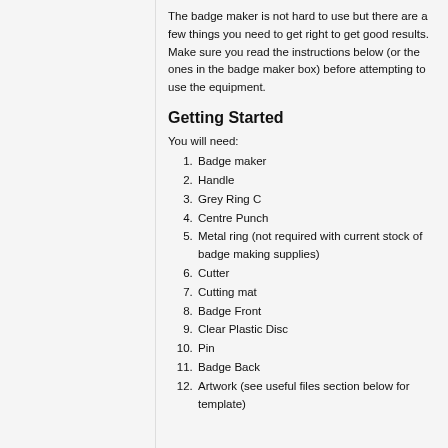The badge maker is not hard to use but there are a few things you need to get right to get good results. Make sure you read the instructions below (or the ones in the badge maker box) before attempting to use the equipment.
Getting Started
You will need:
1. Badge maker
2. Handle
3. Grey Ring C
4. Centre Punch
5. Metal ring (not required with current stock of badge making supplies)
6. Cutter
7. Cutting mat
8. Badge Front
9. Clear Plastic Disc
10. Pin
11. Badge Back
12. Artwork (see useful files section below for template)